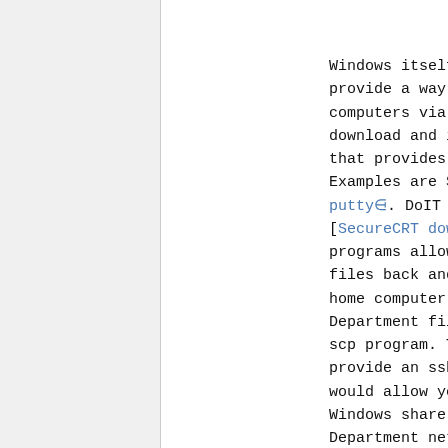1
Windows itself does not provide a way to access other computers via sftp. You can download and install program that provides an sftp program. Examples are SecureCRT or putty. DoIT provides a free [SecureCRT download]. These programs allow you to copy files back and forth from your home computer to your Math Department file space via the scp program. They do not provide an sshfs program that would allow you to make a Windows share to your Math Department network file space.

At the time of this writing,